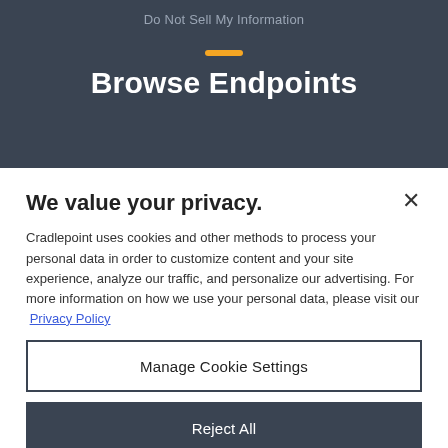Do Not Sell My Information
Browse Endpoints
We value your privacy.
Cradlepoint uses cookies and other methods to process your personal data in order to customize content and your site experience, analyze our traffic, and personalize our advertising. For more information on how we use your personal data, please visit our Privacy Policy
Manage Cookie Settings
Reject All
Accept All Cookies